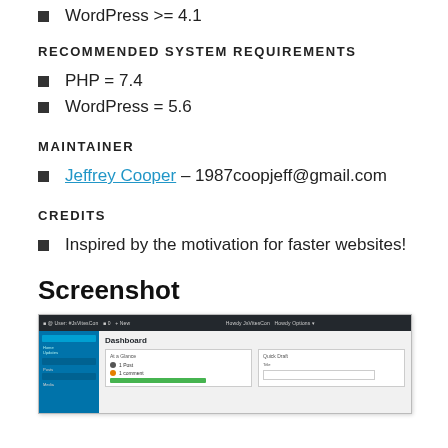WordPress >= 4.1
RECOMMENDED SYSTEM REQUIREMENTS
PHP = 7.4
WordPress = 5.6
MAINTAINER
Jeffrey Cooper – 1987coopjeff@gmail.com
CREDITS
Inspired by the motivation for faster websites!
Screenshot
[Figure (screenshot): WordPress admin dashboard screenshot showing the Dashboard panel with At a Glance and Quick Draft widgets]